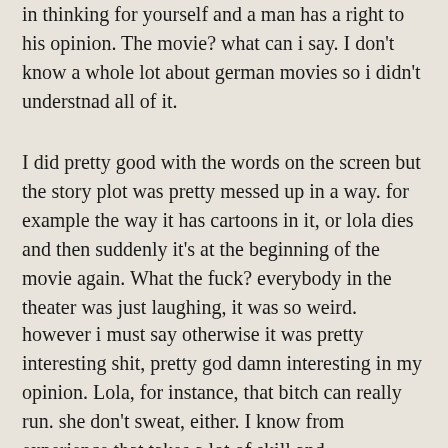in thinking for yourself and a man has a right to his opinion. The movie? what can i say. I don't know a whole lot about german movies so i didn't understnad all of it.
I did pretty good with the words on the screen but the story plot was pretty messed up in a way. for example the way it has cartoons in it, or lola dies and then suddenly it's at the beginning of the movie again. What the fuck? everybody in the theater was just laughing, it was so weird.
however i must say otherwise it was pretty interesting shit, pretty god damn interesting in my opinion. Lola, for instance, that bitch can really run. she don't sweat, either. I know from experience that takes a lot of skill and conditioning. To be frankly honest I have not run